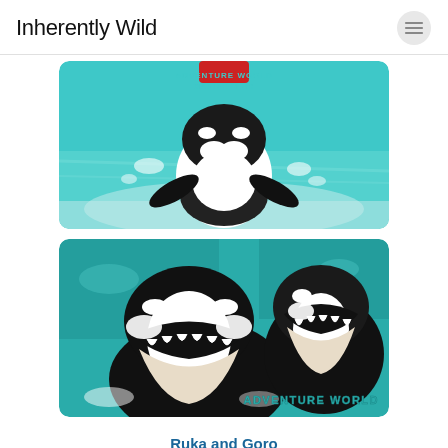Inherently Wild
[Figure (photo): An orca whale leaping out of the water at Adventure World Marine Club, viewed from above/front angle. The orca is black and white, mid-jump with splashing turquoise water. A trainer in red is partially visible at the top.]
[Figure (photo): Two orca whales with mouths open wide, emerging from turquoise water at Adventure World. The orcas are black and white, showing their teeth. The Adventure World logo is visible in the bottom right corner.]
Ruka and Goro